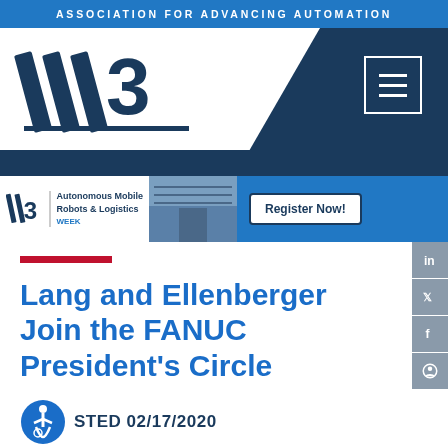ASSOCIATION FOR ADVANCING AUTOMATION
[Figure (logo): A3 (Association for Advancing Automation) logo with stylized III and 3, dark navy and white, with hamburger menu icon]
[Figure (infographic): A3 Autonomous Mobile Robots & Logistics Week banner advertisement with 'Register Now!' button]
Lang and Ellenberger Join the FANUC President's Circle
POSTED 02/17/2020